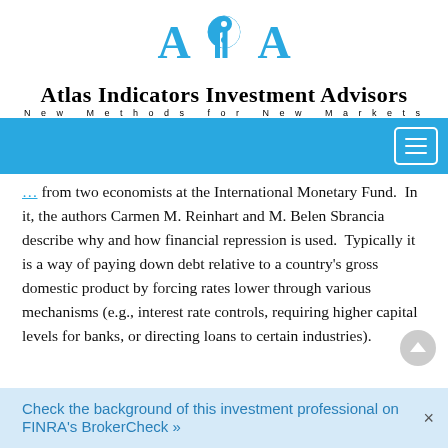[Figure (logo): Atlas Indicators Investment Advisors logo with yin-yang symbol and stylized 'AIA' letters in blue]
Atlas Indicators Investment Advisors
New Methods for New Markets
from two economists at the International Monetary Fund.  In it, the authors Carmen M. Reinhart and M. Belen Sbrancia describe why and how financial repression is used.  Typically it is a way of paying down debt relative to a country’s gross domestic product by forcing rates lower through various mechanisms (e.g., interest rate controls, requiring higher capital levels for banks, or directing loans to certain industries).
Check the background of this investment professional on FINRA’s BrokerCheck »